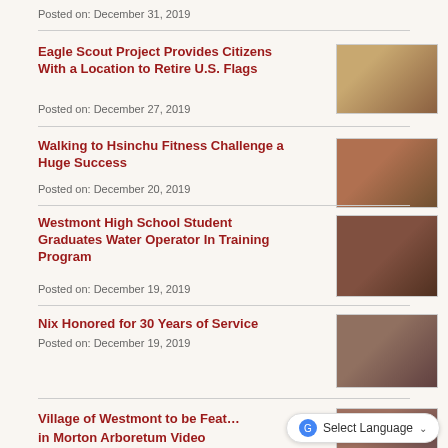Posted on: December 31, 2019
Eagle Scout Project Provides Citizens With a Location to Retire U.S. Flags
Posted on: December 27, 2019
[Figure (photo): Group photo related to Eagle Scout flag retirement project]
Walking to Hsinchu Fitness Challenge a Huge Success
Posted on: December 20, 2019
[Figure (photo): Group photo related to Walking to Hsinchu Fitness Challenge]
Westmont High School Student Graduates Water Operator In Training Program
Posted on: December 19, 2019
[Figure (photo): Group photo related to Water Operator In Training Program graduation]
Nix Honored for 30 Years of Service
Posted on: December 19, 2019
[Figure (photo): Photo related to Nix 30 Years of Service honor]
Village of Westmont to be Featured in Morton Arboretum Video
[Figure (photo): Photo related to Morton Arboretum Video feature]